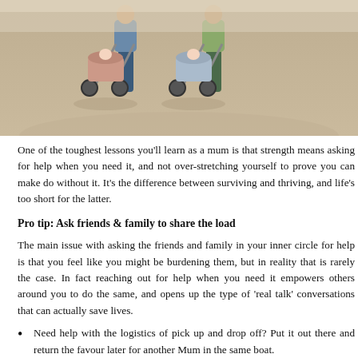[Figure (photo): Two adults pushing strollers/prams along a path, viewed from behind, in an outdoor setting with a dusty/sandy ground.]
One of the toughest lessons you'll learn as a mum is that strength means asking for help when you need it, and not over-stretching yourself to prove you can make do without it. It's the difference between surviving and thriving, and life's too short for the latter.
Pro tip: Ask friends & family to share the load
The main issue with asking the friends and family in your inner circle for help is that you feel like you might be burdening them, but in reality that is rarely the case. In fact reaching out for help when you need it empowers others around you to do the same, and opens up the type of 'real talk' conversations that can actually save lives.
Need help with the logistics of pick up and drop off? Put it out there and return the favour later for another Mum in the same boat.
Need one less kid to juggle for the sake of your sanity? Ask for the playdate and return the favour later for double the brownie